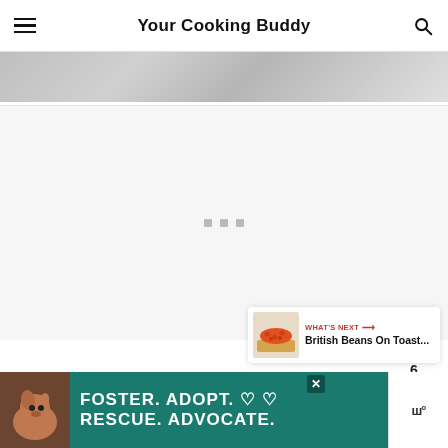Your Cooking Buddy
[Figure (photo): Partial view of a cooking bowl or pan, grayscale, cropped at top]
[Figure (other): Loading content area with three small gray square dots in the center]
[Figure (other): Brown circular heart favorite button floating on right side]
6
[Figure (other): White circular share button with share icon]
[Figure (other): What's Next card showing British Beans On Toast... with thumbnail and orange arrow label]
[Figure (other): Advertisement banner: FOSTER. ADOPT. RESCUE. ADVOCATE. with dog photo on teal background]
[Figure (logo): White logo badge on right side of ad bar]